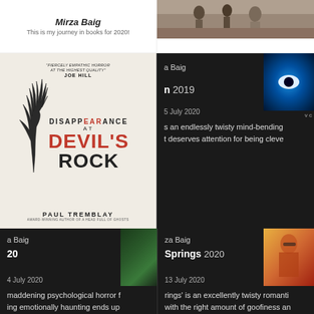Mirza Baig
This is my journey in books for 2020!
[Figure (photo): Photo of people at the beach/outdoor setting]
[Figure (photo): Book cover: Disappearance at Devil's Rock by Paul Tremblay, with Joe Hill blurb]
[Figure (screenshot): Dark card: a Baig - 2019 post, 5 July 2020, text about endlessly twisty mind-bending, with eye/blue thumbnail]
[Figure (screenshot): Dark card: a Baig - 2020 post, 4 July 2020, about maddening psychological horror, green thumbnail]
[Figure (screenshot): Dark card: za Baig - Springs 2020 post, 13 July 2020, about excellently twisty romantic, with retro movie thumbnail]